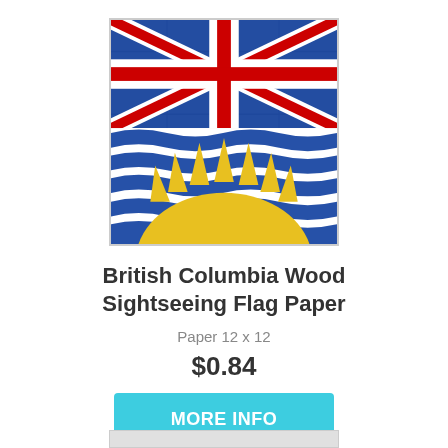[Figure (photo): British Columbia flag rendered on wood planks texture. Upper half is Union Jack on blue background, lower half shows blue and white waves with a golden crown/rising sun design.]
British Columbia Wood Sightseeing Flag Paper
Paper 12 x 12
$0.84
MORE INFO